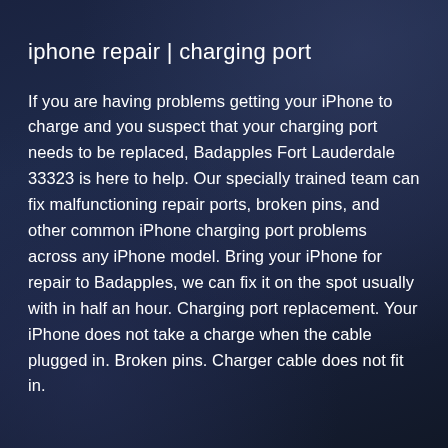iphone repair | charging port
If you are having problems getting your iPhone to charge and you suspect that your charging port needs to be replaced, Badapples Fort Lauderdale 33323 is here to help. Our specially trained team can fix malfunctioning repair ports, broken pins, and other common iPhone charging port problems across any iPhone model. Bring your iPhone for repair to Badapples, we can fix it on the spot usually with in half an hour. Charging port replacement. Your iPhone does not take a charge when the cable plugged in. Broken pins. Charger cable does not fit in.